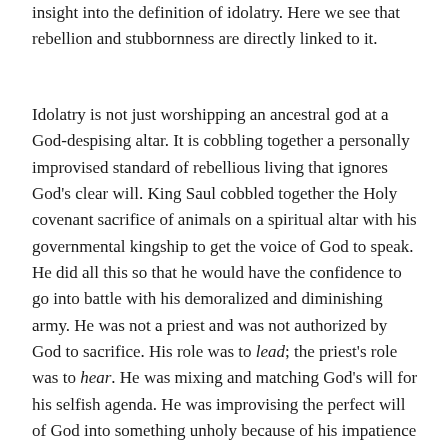insight into the definition of idolatry. Here we see that rebellion and stubbornness are directly linked to it.
Idolatry is not just worshipping an ancestral god at a God-despising altar. It is cobbling together a personally improvised standard of rebellious living that ignores God's clear will. King Saul cobbled together the Holy covenant sacrifice of animals on a spiritual altar with his governmental kingship to get the voice of God to speak. He did all this so that he would have the confidence to go into battle with his demoralized and diminishing army. He was not a priest and was not authorized by God to sacrifice. His role was to lead; the priest's role was to hear. He was mixing and matching God's will for his selfish agenda. He was improvising the perfect will of God into something unholy because of his impatience with God's